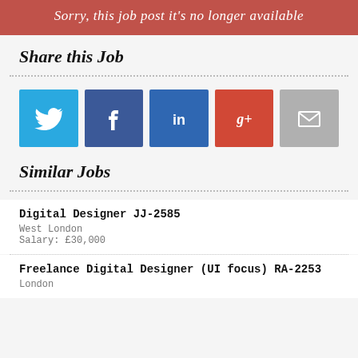Sorry, this job post it's no longer available
Share this Job
[Figure (infographic): Five social sharing buttons: Twitter (blue bird icon), Facebook (dark blue f icon), LinkedIn (dark blue in icon), Google+ (red g+ icon), Email (grey envelope icon)]
Similar Jobs
Digital Designer JJ-2585
West London
Salary: £30,000
Freelance Digital Designer (UI focus) RA-2253
London